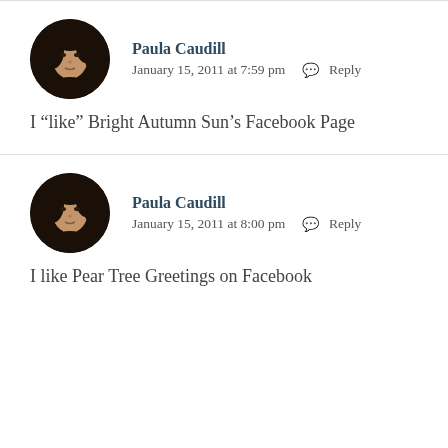[Figure (photo): Circular avatar photo of Paula Caudill - woman with dark curly hair]
Paula Caudill
January 15, 2011 at 7:59 pm  Reply
I “like” Bright Autumn Sun’s Facebook Page
[Figure (photo): Circular avatar photo of Paula Caudill - woman with dark curly hair]
Paula Caudill
January 15, 2011 at 8:00 pm  Reply
I like Pear Tree Greetings on Facebook